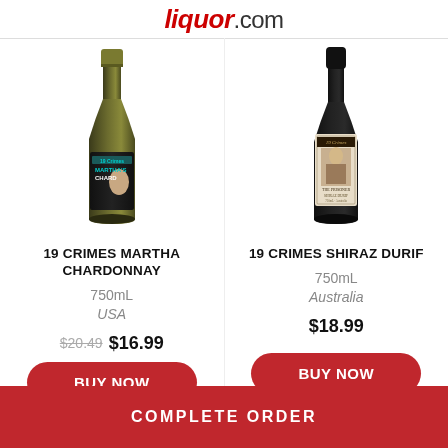liquor.com
[Figure (photo): Bottle of 19 Crimes Martha Chardonnay wine with dark label featuring Martha Stewart's image]
19 CRIMES MARTHA CHARDONNAY
750mL
USA
$20.49 $16.99
BUY NOW
[Figure (photo): Bottle of 19 Crimes Shiraz Durif wine with dark label featuring a portrait]
19 CRIMES SHIRAZ DURIF
750mL
Australia
$18.99
BUY NOW
COMPLETE ORDER